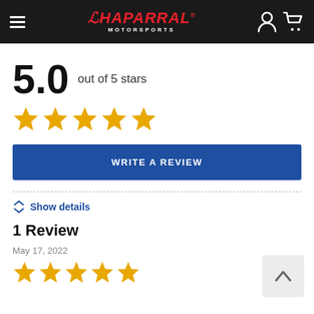Chaparral Motorsports
5.0 out of 5 stars
[Figure (other): Five gold star rating icons]
WRITE A REVIEW
Show details
1 Review
May 17, 2022
[Figure (other): Five gold star rating icons (review)]